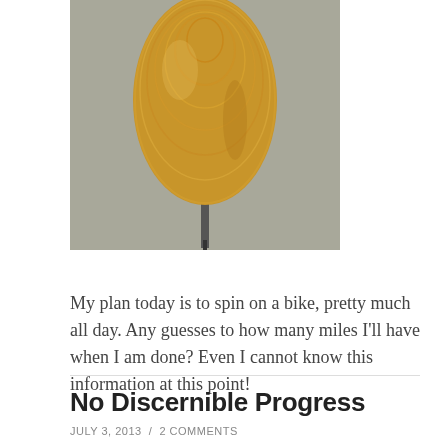[Figure (photo): A spindle or bobbin wound with golden/tan colored thread or yarn, shaped like a teardrop or cone, sitting on a dark metal spike, photographed against a gray surface.]
My plan today is to spin on a bike, pretty much all day. Any guesses to how many miles I'll have when I am done? Even I cannot know this information at this point!
No Discernible Progress
JULY 3, 2013 / 2 COMMENTS